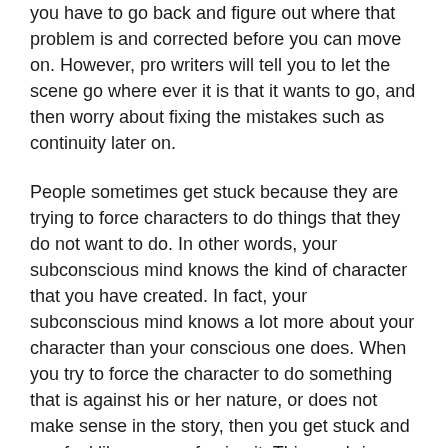you have to go back and figure out where that problem is and corrected before you can move on. However, pro writers will tell you to let the scene go where ever it is that it wants to go, and then worry about fixing the mistakes such as continuity later on.
People sometimes get stuck because they are trying to force characters to do things that they do not want to do. In other words, your subconscious mind knows the kind of character that you have created. In fact, your subconscious mind knows a lot more about your character than your conscious one does. When you try to force the character to do something that is against his or her nature, or does not make sense in the story, then you get stuck and you feel like you are forcing it. This can bring your story to a grinding halt as well.
The bottom line is that although writers block is not necessarily a myth, it is not as big of a problem as people think it is. In fact, you are the one that gives it all of its power. If you refuse to acknowledge the power of writers block and